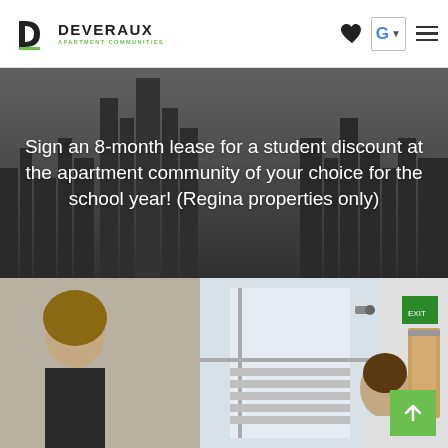[Figure (logo): Deveraux Apartment Communities logo — black D icon and wordmark with green subtitle]
[Figure (screenshot): Navigation header icons: heart/favorite icon, Google G button with dropdown arrow, hamburger menu]
Sign an 8-month lease for a student discount at the apartment community of your choice for the school year! (Regina properties only)
[Figure (photo): Photo of a smiling woman with long hair in a fitness/community room, and a bearded man in the background; interior of an apartment community facility]